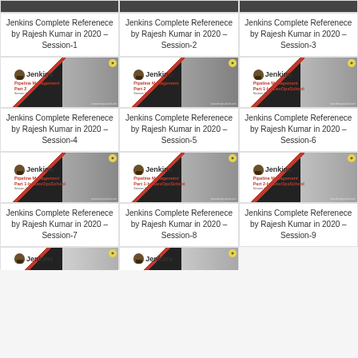[Figure (screenshot): Jenkins Pipeline Management thumbnail - Session 1 (partial top)]
[Figure (screenshot): Jenkins Pipeline Management thumbnail - Session 2 (partial top)]
[Figure (screenshot): Jenkins Pipeline Management thumbnail - Session 3 (partial top)]
Jenkins Complete Referenece by Rajesh Kumar in 2020 – Session-1
Jenkins Complete Referenece by Rajesh Kumar in 2020 – Session-2
Jenkins Complete Referenece by Rajesh Kumar in 2020 – Session-3
[Figure (screenshot): Jenkins Pipeline Management Part 2 Session 1 thumbnail]
[Figure (screenshot): Jenkins Pipeline Management Part 2 Session 2 thumbnail]
[Figure (screenshot): Jenkins Pipeline Management Part 1 by DevOpsSchool Session 1 thumbnail]
Jenkins Complete Referenece by Rajesh Kumar in 2020 – Session-4
Jenkins Complete Referenece by Rajesh Kumar in 2020 – Session-5
Jenkins Complete Referenece by Rajesh Kumar in 2020 – Session-6
[Figure (screenshot): Jenkins Pipeline Management Part 1 by DevOpsSchool Session 2 thumbnail]
[Figure (screenshot): Jenkins Pipeline Management Part 1 by DevOpsSchool Session 3 thumbnail]
[Figure (screenshot): Jenkins Pipeline Management Part 2 by DevOpsSchool Session 1 thumbnail]
Jenkins Complete Referenece by Rajesh Kumar in 2020 – Session-7
Jenkins Complete Referenece by Rajesh Kumar in 2020 – Session-8
Jenkins Complete Referenece by Rajesh Kumar in 2020 – Session-9
[Figure (screenshot): Jenkins thumbnail partial - bottom row left]
[Figure (screenshot): Jenkins thumbnail partial - bottom row center]